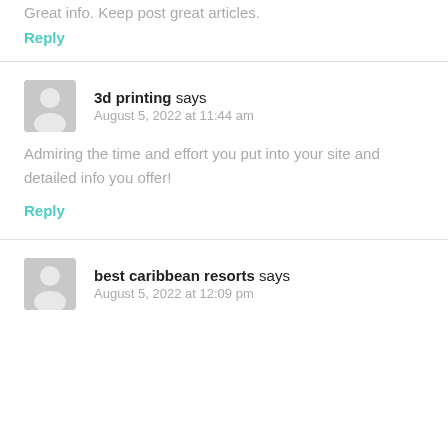Great info. Keep post great articles.
Reply
3d printing says
August 5, 2022 at 11:44 am
Admiring the time and effort you put into your site and detailed info you offer!
Reply
best caribbean resorts says
August 5, 2022 at 12:09 pm